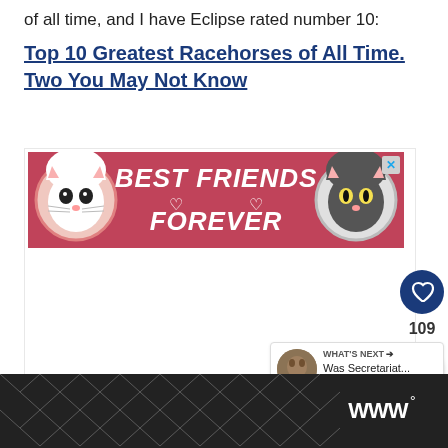of all time, and I have Eclipse rated number 10:
Top 10 Greatest Racehorses of All Time. Two You May Not Know
[Figure (photo): Advertisement banner showing two cats with text 'BEST FRIENDS FOREVER' on a pink/red background with heart symbols]
[Figure (infographic): White content area with floating action buttons: heart icon (dark blue circle), count '109', share icon. 'WHAT'S NEXT' widget with thumbnail image and text 'Was Secretariat...']
[Figure (other): Dark bottom bar with geometric diamond/chevron pattern in grey and a logo showing 'WWW degree symbol']